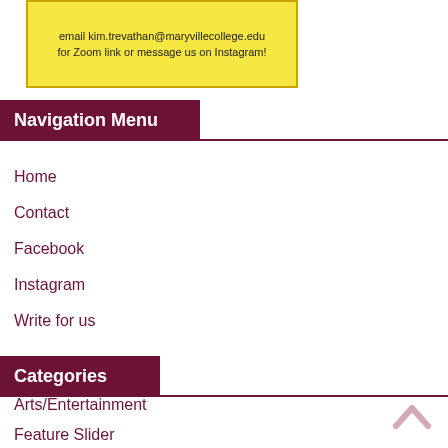[Figure (other): Yellow box with text: email kim.trevathan@maryvillecollege.edu for Zoom link or message us on Instagram!]
Navigation Menu
Home
Contact
Facebook
Instagram
Write for us
Categories
Arts/Entertainment
Feature Slider